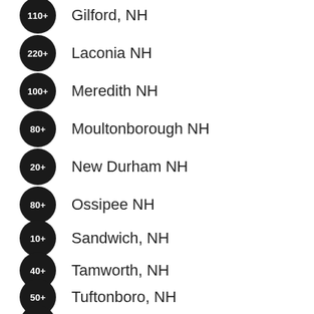110+ Gilford, NH
220+ Laconia NH
100+ Meredith NH
80+ Moultonborough NH
20+ New Durham NH
80+ Ossipee NH
10+ Sandwich, NH
40+ Tamworth, NH
50+ Tuftonboro, NH
70+ Wakefield NH